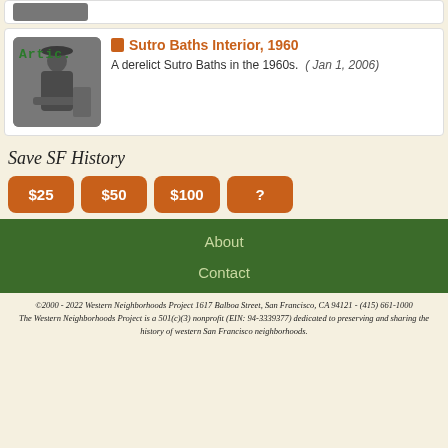[Figure (photo): Partial top card stub showing bottom of a photo]
[Figure (photo): Black and white photo of a man sitting in a chair reading, with 'Artic.' text overlay in green]
Sutro Baths Interior, 1960
A derelict Sutro Baths in the 1960s.   ( Jan 1, 2006)
Save SF History
$25
$50
$100
?
About
Contact
©2000 - 2022 Western Neighborhoods Project 1617 Balboa Street, San Francisco, CA 94121 - (415) 661-1000
The Western Neighborhoods Project is a 501(c)(3) nonprofit (EIN: 94-3339377) dedicated to preserving and sharing the history of western San Francisco neighborhoods.